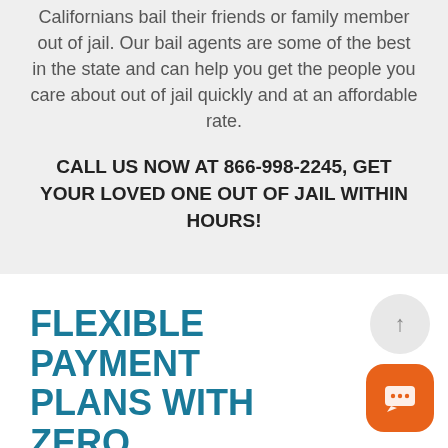Californians bail their friends or family member out of jail. Our bail agents are some of the best in the state and can help you get the people you care about out of jail quickly and at an affordable rate.
CALL US NOW AT 866-998-2245, GET YOUR LOVED ONE OUT OF JAIL WITHIN HOURS!
FLEXIBLE PAYMENT PLANS WITH ZERO